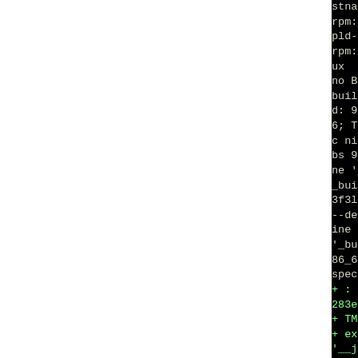[Figure (screenshot): Terminal/console output showing RPM build commands on a black background, partially cropped on the left side. Text shows build target platform info, build IDs, and rpmbuild command with various --define flags.]